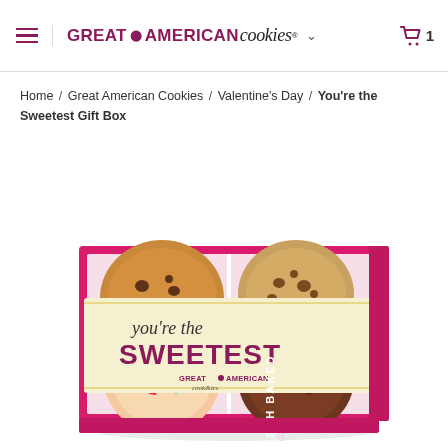Great American Cookies
Home / Great American Cookies / Valentine's Day / You're the Sweetest Gift Box
[Figure (photo): A pink gift box containing four large cookies — a chocolate chip cookie (top left), a double chocolate chip cookie (top right), a sprinkle sugar cookie (bottom left), and a chocolate cookie (bottom right). The box is wrapped with a cream-colored band reading 'you're the SWEETEST' in script and bold purple text, along with 'GREAT AMERICAN Cookies' branding. The box front reads 'FRESH BAKED every day'.]